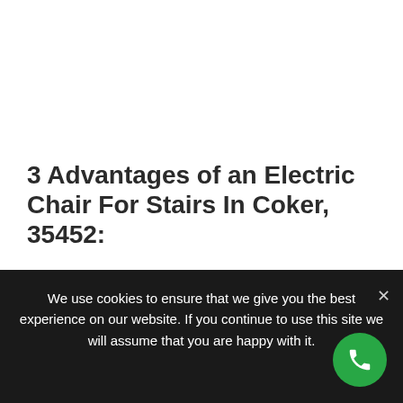3 Advantages of an Electric Chair For Stairs In Coker, 35452:
Electric stair lifts are less expensive to purchase
The electric stair lifts are more reliable
We use cookies to ensure that we give you the best experience on our website. If you continue to use this site we will assume that you are happy with it.